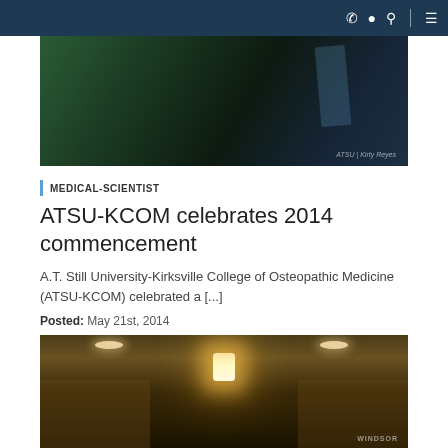Navigation bar with phone, location, search, and menu icons
[Figure (photo): Close-up photo of graduation gowns in dark and green colors with a watermark in the lower right]
MEDICAL-SCIENTIST
ATSU-KCOM celebrates 2014 commencement
A.T. Still University-Kirksville College of Osteopathic Medicine (ATSU-KCOM) celebrated a [...]
Posted: May 21st, 2014
[Figure (photo): Interior hallway photo with ceiling lights and a wall sconce glowing warmly, with a WINDSOR sign partially visible in the lower right]